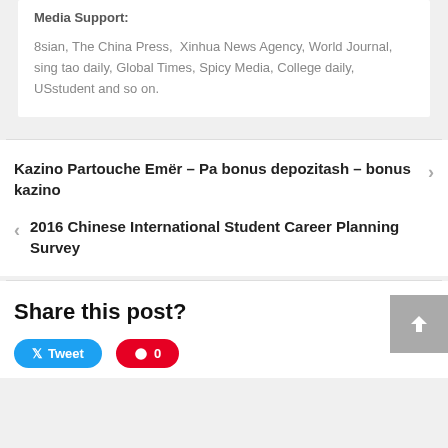Media Support:
8sian, The China Press,  Xinhua News Agency, World Journal, sing tao daily, Global Times, Spicy Media, College daily, USstudent and so on.
Kazino Partouche Emër – Pa bonus depozitash – bonus kazino
2016 Chinese International Student Career Planning Survey
Share this post?
Tweet
0